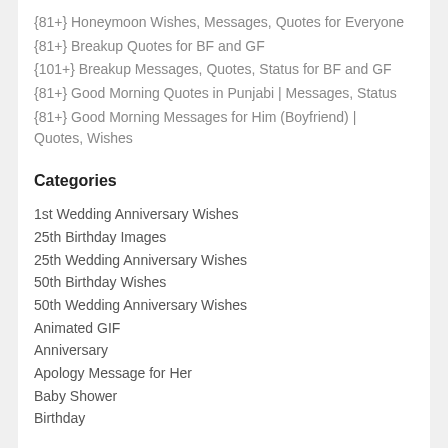{81+} Honeymoon Wishes, Messages, Quotes for Everyone
{81+} Breakup Quotes for BF and GF
{101+} Breakup Messages, Quotes, Status for BF and GF
{81+} Good Morning Quotes in Punjabi | Messages, Status
{81+} Good Morning Messages for Him (Boyfriend) | Quotes, Wishes
Categories
1st Wedding Anniversary Wishes
25th Birthday Images
25th Wedding Anniversary Wishes
50th Birthday Wishes
50th Wedding Anniversary Wishes
Animated GIF
Anniversary
Apology Message for Her
Baby Shower
Birthday